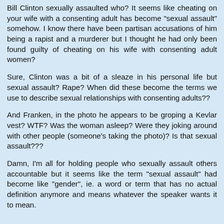Bill Clinton sexually assaulted who? It seems like cheating on your wife with a consenting adult has become "sexual assault" somehow. I know there have been partisan accusations of him being a rapist and a murderer but I thought he had only been found guilty of cheating on his wife with consenting adult women?
Sure, Clinton was a bit of a sleaze in his personal life but sexual assault? Rape? When did these become the terms we use to describe sexual relationships with consenting adults??
And Franken, in the photo he appears to be groping a Kevlar vest? WTF? Was the woman asleep? Were they joking around with other people (someone's taking the photo)? Is that sexual assault???
Damn, I'm all for holding people who sexually assault others accountable but it seems like the term "sexual assault" had become like "gender", ie. a word or term that has no actual definition anymore and means whatever the speaker wants it to mean.